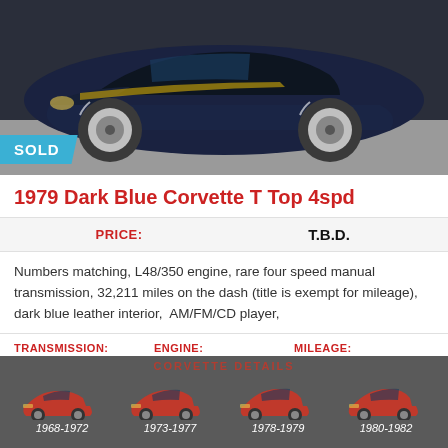[Figure (photo): Front/side view of a dark blue 1979 Corvette T Top parked in a garage, with a 'SOLD' badge overlay in the bottom-left corner of the image.]
1979 Dark Blue Corvette T Top 4spd
| PRICE: | T.B.D. |
| --- | --- |
Numbers matching, L48/350 engine, rare four speed manual transmission, 32,211 miles on the dash (title is exempt for mileage), dark blue leather interior,  AM/FM/CD player,
TRANSMISSION: MANUAL  ENGINE: L48/350  MILEAGE: 32,211 ON DASH
[Figure (infographic): Corvette Details footer showing four red Corvette silhouette illustrations labeled by year ranges: 1968-1972, 1973-1977, 1978-1979, 1980-1982]